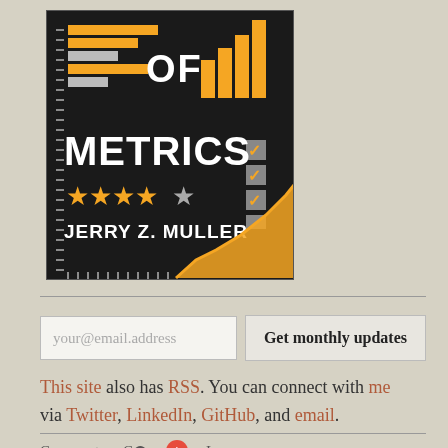[Figure (illustration): Book cover for a book about metrics by Jerry Z. Muller. Black background with yellow/gold and gray bar chart graphics, checklist graphics, stars (4 gold, 1 gray), and a rising line chart. Text reads 'OF METRICS' and 'JERRY Z. MULLER'.]
your@email.address  Get monthly updates
This site also has RSS. You can connect with me via Twitter, LinkedIn, GitHub, and email.